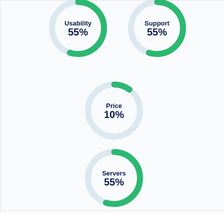[Figure (donut-chart): Usability]
[Figure (donut-chart): Support]
[Figure (donut-chart): Price]
[Figure (donut-chart): Servers]